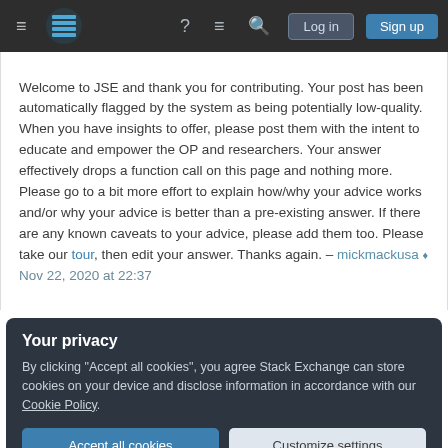[Figure (screenshot): Stack Exchange navigation bar with hamburger menu, logo, help icon, chat icon, search icon, Log in button, Sign up button on dark background]
Welcome to JSE and thank you for contributing. Your post has been automatically flagged by the system as being potentially low-quality. When you have insights to offer, please post them with the intent to educate and empower the OP and researchers. Your answer effectively drops a function call on this page and nothing more. Please go to a bit more effort to explain how/why your advice works and/or why your advice is better than a pre-existing answer. If there are any known caveats to your advice, please add them too. Please take our tour, then edit your answer. Thanks again. – mickmackusa ♦ Nov 22, 2020 at 22:37
Your privacy
By clicking "Accept all cookies", you agree Stack Exchange can store cookies on your device and disclose information in accordance with our Cookie Policy.
Accept all cookies
Customize settings